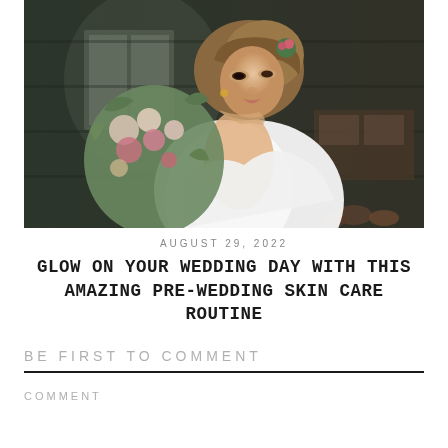[Figure (photo): A bride in a white lace backless dress holding a floral bouquet, looking over her shoulder, inside a rustic log cabin setting.]
AUGUST 29, 2022
GLOW ON YOUR WEDDING DAY WITH THIS AMAZING PRE-WEDDING SKIN CARE ROUTINE
BE FIRST TO COMMENT
COMMENT